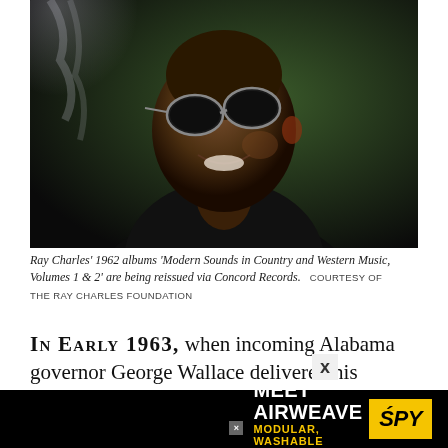[Figure (photo): Ray Charles smiling, wearing round sunglasses, dressed in a dark jacket, photographed against a dark background with a haze of smoke or light]
Ray Charles' 1962 albums 'Modern Sounds in Country and Western Music, Volumes 1 & 2' are being reissued via Concord Records.  COURTESY OF THE RAY CHARLES FOUNDATION
IN EARLY 1963, when incoming Alabama governor George Wallace delivered his infamous "segregation now, segregation tomorrow,